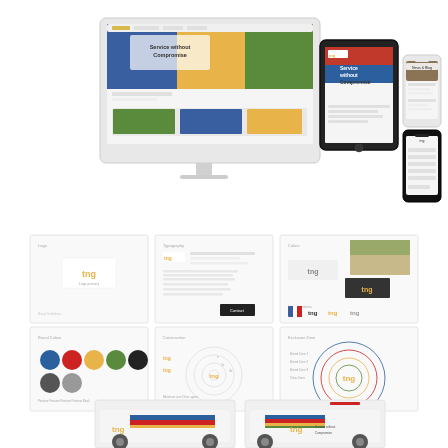[Figure (screenshot): A composite brand presentation image showing three sections: (1) Top section: mockup of a website displayed on a desktop iMac monitor, a tablet (iPad), and two mobile phones, showing a website with colorful imagery and the text 'Service without Compromise'. (2) Middle section: six document/brand guideline pages laid out in two rows of three, showing logo usage, brand colors (blue, red, yellow, green, black, grey circles), typography, and brand identity system pages. (3) Bottom section: partial view of two white delivery vans with the brand logo and colorful stripe graphic applied to the sides.]